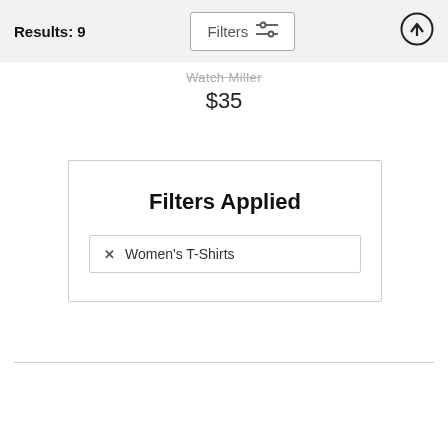Results: 9
Filters
Watch Miller
$35
Filters Applied
Women's T-Shirts